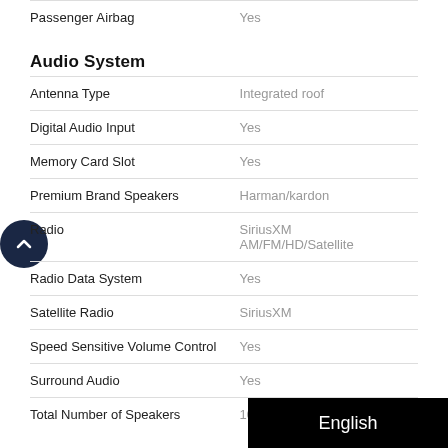| Feature | Value |
| --- | --- |
| Passenger Airbag | Yes |
Audio System
| Feature | Value |
| --- | --- |
| Antenna Type | Integrated roof |
| Digital Audio Input | Yes |
| Memory Card Slot | Yes |
| Premium Brand Speakers | Harman/kardon |
| Radio | SiriusXM AM/FM/HD/Satellite |
| Radio Data System | Yes |
| Satellite Radio | SiriusXM |
| Speed Sensitive Volume Control | Yes |
| Surround Audio | Yes |
| Total Number of Speakers | 10 |
Brakes
| Feature | Value |
| --- | --- |
| Braking assist | Brak… |
| Front brakes | Vent… |